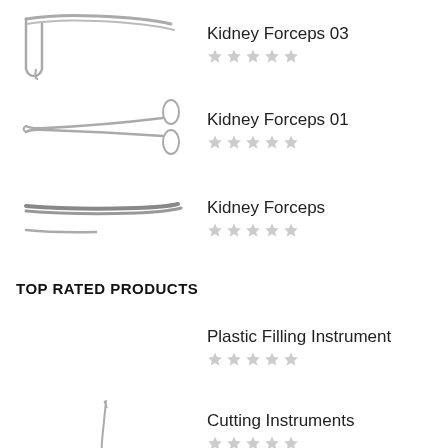[Figure (illustration): Kidney Forceps 03 surgical instrument illustration]
Kidney Forceps 03
[Figure (illustration): 5 empty star rating]
[Figure (illustration): Kidney Forceps 01 surgical instrument illustration]
Kidney Forceps 01
[Figure (illustration): 5 empty star rating]
[Figure (illustration): Kidney Forceps surgical instrument illustration]
Kidney Forceps
[Figure (illustration): 5 empty star rating]
TOP RATED PRODUCTS
Plastic Filling Instrument
[Figure (illustration): 5 empty star rating]
[Figure (illustration): Cutting Instruments surgical instrument illustration]
Cutting Instruments
[Figure (illustration): 5 empty star rating]